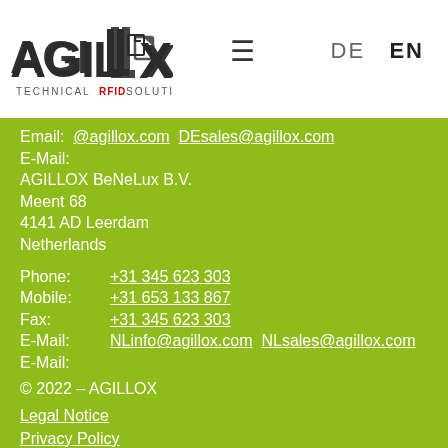[Figure (logo): AGILLOX Technical RFID Solutions logo — white background with stylized text]
DE  EN
Email: [partially visible]@agillox.com  DEsales@agillox.com
E-Mail:
AGILLOX BeNeLux B.V.
Meent 68
4141 AD Leerdam
Netherlands
Phone:   +31 345 623 303
Mobile:  +31 653 133 867
Fax:     +31 345 623 303
E-Mail:  NLinfo@agillox.com  NLsales@agillox.com
E-Mail:
© 2022 – AGILLOX
Legal Notice
Privacy Policy
General Terms & Conditions